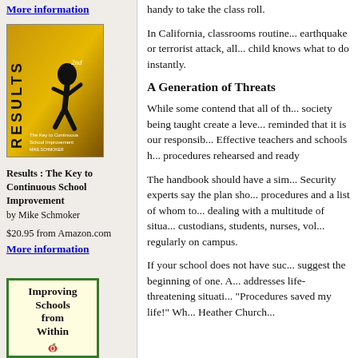More information
[Figure (illustration): Book cover for 'Results: The Key to Continuous School Improvement' by Mike Schmoker, 2nd edition. Shows a silhouette of a jumping child on a golden/orange background with the word RESULTS in vertical text.]
Results : The Key to Continuous School Improvement
by Mike Schmoker

$20.95 from Amazon.com
More information
[Figure (illustration): Book cover for 'Improving Schools from Within' with a green border and an apple graphic.]
handy to take the class roll.
In California, classrooms routine... earthquake or terrorist attack, all... child knows what to do instantly.
A Generation of Threats
While some contend that all of th... society being taught create a leve... reminded that it is our responsib... Effective teachers and schools h... procedures rehearsed and ready
The handbook should have a sim... Security experts say the plan sho... procedures and a list of whom to... dealing with a multitude of situa... custodians, students, nurses, vol... regularly on campus.
If your school does not have suc... suggest the beginning of one. A... addresses life-threatening situati... "Procedures saved my life!" Wh... Heather Church...